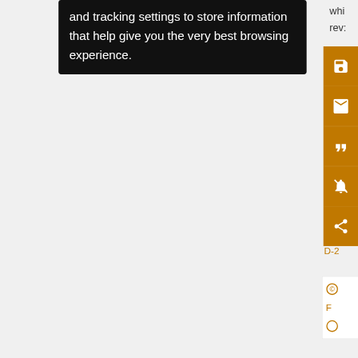and tracking settings to store information that help give you the very best browsing experience.
[Figure (screenshot): Orange sidebar with save, email, quote, mute/notification, and share icon buttons]